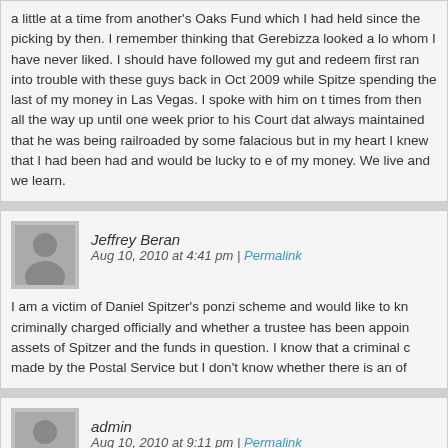a little at a time from another's Oaks Fund which I had held since the picking by then. I remember thinking that Gerebizza looked a lot whom I have never liked. I should have followed my gut and redeem first ran into trouble with these guys back in Oct 2009 while Spitzer spending the last of my money in Las Vegas. I spoke with him on ti times from then all the way up until one week prior to his Court date always maintained that he was being railroaded by some falacious but in my heart I knew that I had been had and would be lucky to e of my money. We live and we learn.
Jeffrey Beran
Aug 10, 2010 at 4:41 pm | Permalink
I am a victim of Daniel Spitzer's ponzi scheme and would like to kn criminally charged officially and whether a trustee has been appoin assets of Spitzer and the funds in question. I know that a criminal c made by the Postal Service but I don't know whether there is an of
admin
Aug 10, 2010 at 9:11 pm | Permalink
I am a victim of Daniel Spitzerâ€™s ponzi scheme and wou he has been criminally charged officially
Hello Jeffrey,